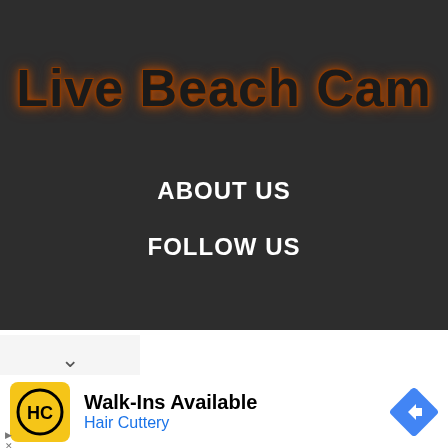Live Beach Cam
ABOUT US
FOLLOW US
[Figure (logo): Hair Cuttery logo — HC letters in black circle on yellow square background]
Walk-Ins Available
Hair Cuttery